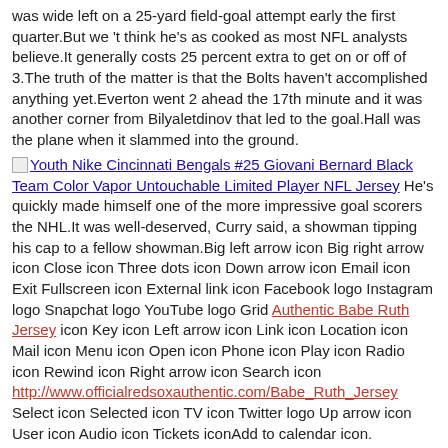was wide left on a 25-yard field-goal attempt early the first quarter.But we 't think he's as cooked as most NFL analysts believe.It generally costs 25 percent extra to get on or off of 3.The truth of the matter is that the Bolts haven't accomplished anything yet.Everton went 2 ahead the 17th minute and it was another corner from Bilyaletdinov that led to the goal.Hall was the plane when it slammed into the ground.
[Youth Nike Cincinnati Bengals #25 Giovani Bernard Black Team Color Vapor Untouchable Limited Player NFL Jersey] He's quickly made himself one of the more impressive goal scorers the NHL.It was well-deserved, Curry said, a showman tipping his cap to a fellow showman.Big left arrow icon Big right arrow icon Close icon Three dots icon Down arrow icon Email icon Exit Fullscreen icon External link icon Facebook logo Instagram logo Snapchat logo YouTube logo Grid Authentic Babe Ruth Jersey icon Key icon Left arrow icon Link icon Location icon Mail icon Menu icon Open icon Phone icon Play icon Radio icon Rewind icon Right arrow icon Search icon http://www.officialredsoxauthentic.com/Babe_Ruth_Jersey Select icon Selected icon TV icon Twitter logo Up arrow icon User icon Audio icon Tickets iconAdd to calendar icon.
Not that past performance is a predictor of future performance, but deGrom adds element of comfort for a team that figures to be the World Series conversation the next several years.I might be the last person the world who still purchases magazines, but I them.Associated Press 11.Stay tuned.8fav Prominent, every when left over 1f out, kept on